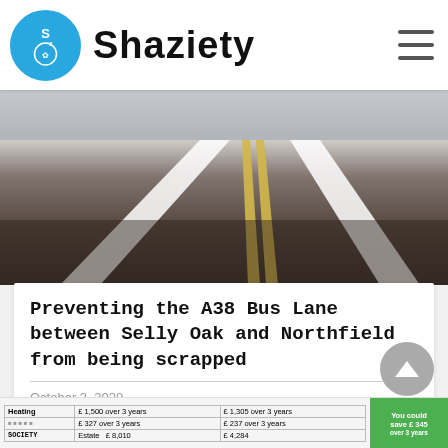Shaziety
[Figure (photo): Road surface with yellow and white lane markings, dark asphalt, viewed from above at an angle]
Preventing the A38 Bus Lane between Selly Oak and Northfield from being scrapped
October 3, 2020
|  |  |  |
| --- | --- | --- |
| Heating | £ 1,500 over 3 years | £ 1,305 over 3 years |
|  | £ 327 over 3 years | £ 237 over 3 years |
| SOCIETY | Estate | £ 8,010 | £ 4,284 |